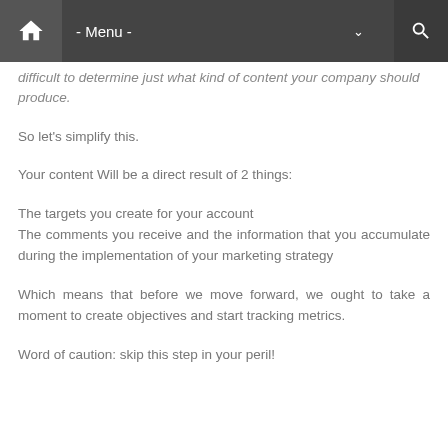- Menu -
difficult to determine just what kind of content your company should produce.
So let's simplify this.
Your content Will be a direct result of 2 things:
The targets you create for your account
The comments you receive and the information that you accumulate during the implementation of your marketing strategy
Which means that before we move forward, we ought to take a moment to create objectives and start tracking metrics.
Word of caution: skip this step in your peril!